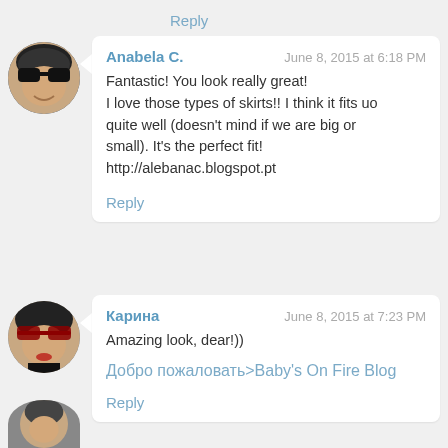Reply
Anabela C. — June 8, 2015 at 6:18 PM
Fantastic! You look really great!
I love those types of skirts!! I think it fits uo quite well (doesn't mind if we are big or small). It's the perfect fit!
http://alebanac.blogspot.pt
Reply
Карина — June 8, 2015 at 7:23 PM
Amazing look, dear!))
Добро пожаловать>Baby's On Fire Blog
Reply